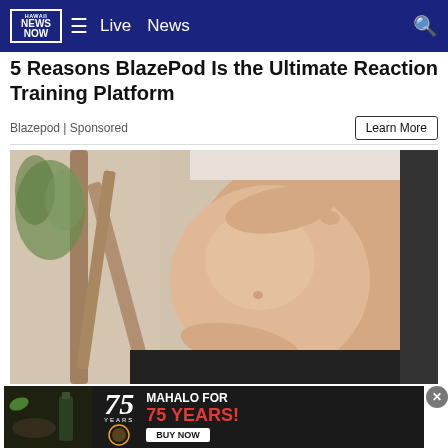Hawaii News Now — Live | News
5 Reasons BlazePod Is the Ultimate Reaction Training Platform
Blazepod | Sponsored
[Figure (photo): Close-up of a pregnant woman cradling her bare belly with both hands, with a blurred indoor background featuring wooden furniture and a green plant.]
Using
[Figure (infographic): Advertisement banner: '75 Years — MAHALO FOR 75 YEARS! BUY NOW' on a dark background with food imagery on the left.]